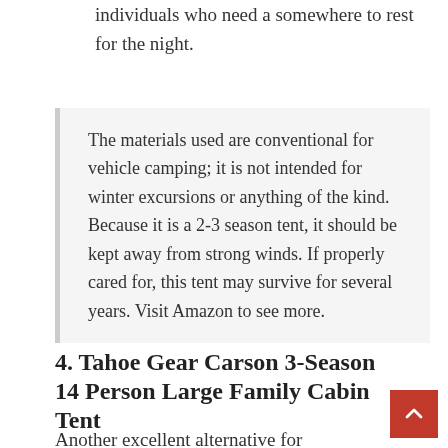individuals who need a somewhere to rest for the night.
The materials used are conventional for vehicle camping; it is not intended for winter excursions or anything of the kind. Because it is a 2-3 season tent, it should be kept away from strong winds. If properly cared for, this tent may survive for several years. Visit Amazon to see more.
4. Tahoe Gear Carson 3-Season 14 Person Large Family Cabin Tent
Another excellent alternative for